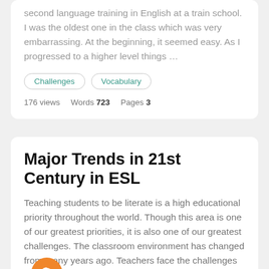second language training in English at a train school. I was the oldest one in the class which was very embarrassing. At the beginning, it seemed easy. As I progressed to a higher level things …
Challenges
Vocabulary
176 views   Words 723   Pages 3
Major Trends in 21st Century in ESL
Teaching students to be literate is a high educational priority throughout the world. Though this area is one of our greatest priorities, it is also one of our greatest challenges. The classroom environment has changed from many years ago. Teachers face the challenges of a …
21st Century
Vocabulary